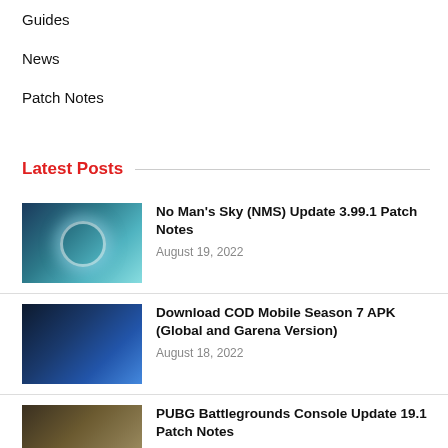Guides
News
Patch Notes
Latest Posts
[Figure (photo): No Man's Sky game art showing a glowing orb in space with sci-fi red spacecraft]
No Man's Sky (NMS) Update 3.99.1 Patch Notes
August 19, 2022
[Figure (photo): COD Mobile Season 7 game art showing a blue-toned futuristic armored character]
Download COD Mobile Season 7 APK (Global and Garena Version)
August 18, 2022
[Figure (photo): PUBG Battlegrounds console game art showing aerial view of terrain]
PUBG Battlegrounds Console Update 19.1 Patch Notes